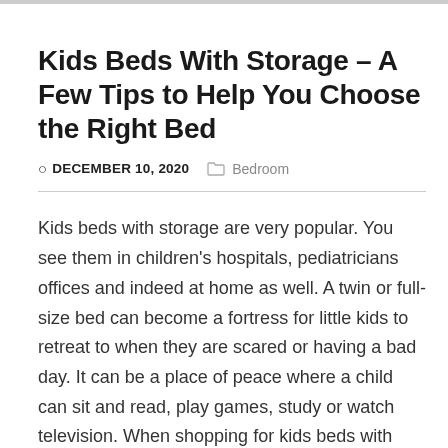Kids Beds With Storage – A Few Tips to Help You Choose the Right Bed
DECEMBER 10, 2020   Bedroom
Kids beds with storage are very popular. You see them in children's hospitals, pediatricians offices and indeed at home as well. A twin or full-size bed can become a fortress for little kids to retreat to when they are scared or having a bad day. It can be a place of peace where a child can sit and read, play games, study or watch television. When shopping for kids beds with storage, you need to